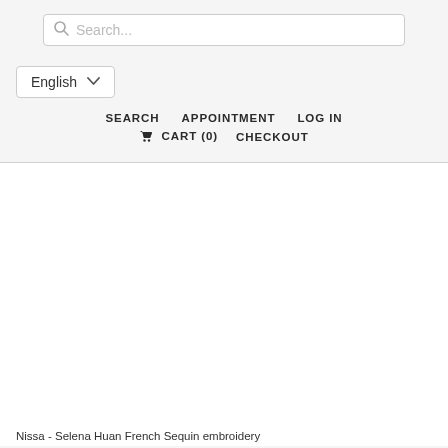Search... | English | SEARCH  APPOINTMENT  LOG IN | CART (0)  CHECKOUT
[Figure (other): White blank content area, product image not loaded]
Nissa - Selena Huan French Sequin embroidery